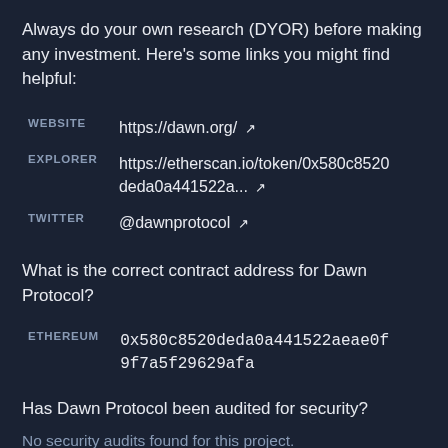Always do your own research (DYOR) before making any investment. Here's some links you might find helpful:
|  |  |
| --- | --- |
| WEBSITE | https://dawn.org/ ↗ |
| EXPLORER | https://etherscan.io/token/0x580c8520deda0a441522a... ↗ |
| TWITTER | @dawnprotocol ↗ |
What is the correct contract address for Dawn Protocol?
|  |  |
| --- | --- |
| ETHEREUM | 0x580c8520deda0a441522aeae0f9f7a5f29629afa |
Has Dawn Protocol been audited for security?
No security audits found for this project.